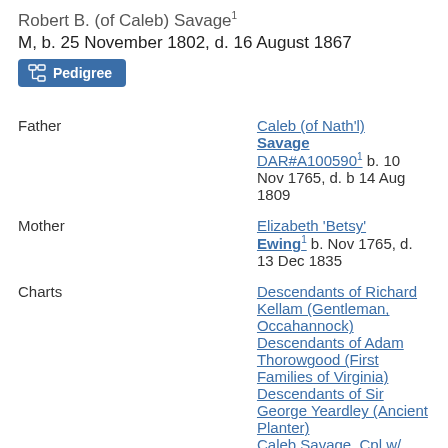Robert B. (of Caleb) Savage¹
M, b. 25 November 1802, d. 16 August 1867
Pedigree (button)
| Label | Value |
| --- | --- |
| Father | Caleb (of Nath'l) Savage DAR#A100590¹ b. 10 Nov 1765, d. b 14 Aug 1809 |
| Mother | Elizabeth 'Betsy' Ewing¹ b. Nov 1765, d. 13 Dec 1835 |
| Charts | Descendants of Richard Kellam (Gentleman, Occahannock) Descendants of Adam Thorowgood (First Families of Virginia) Descendants of Sir George Yeardley (Ancient Planter) Caleb Savage, Cpl w/ |